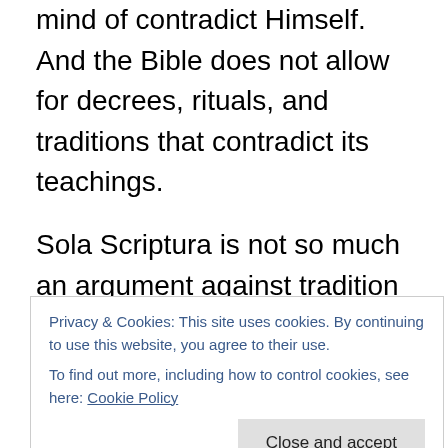mind of contradict Himself. And the Bible does not allow for decrees, rituals, and traditions that contradict its teachings.
Sola Scriptura is not so much an argument against tradition as it is an argument against unbiblical, extra-biblical, and anti-biblical doctrines and practices.
Unless these apostate churches can prove that their decrees, rituals, and traditions are divinely inspired and equally authoritative with the Scripture, the only way for a Christian to know what God says about faith and practices
Privacy & Cookies: This site uses cookies. By continuing to use this website, you agree to their use.
To find out more, including how to control cookies, see here: Cookie Policy
rituals of the Orthodox and Roman Catholic churches.